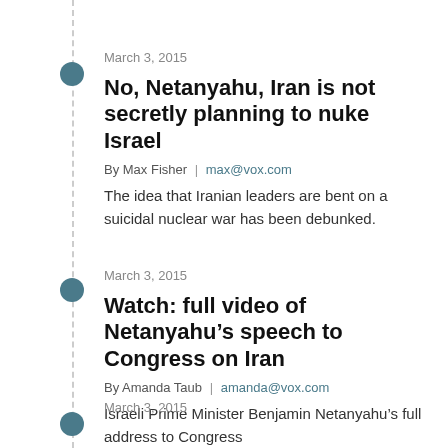March 3, 2015
No, Netanyahu, Iran is not secretly planning to nuke Israel
By Max Fisher | max@vox.com
The idea that Iranian leaders are bent on a suicidal nuclear war has been debunked.
March 3, 2015
Watch: full video of Netanyahu’s speech to Congress on Iran
By Amanda Taub | amanda@vox.com
Israeli Prime Minister Benjamin Netanyahu’s full address to Congress
March 3, 2015